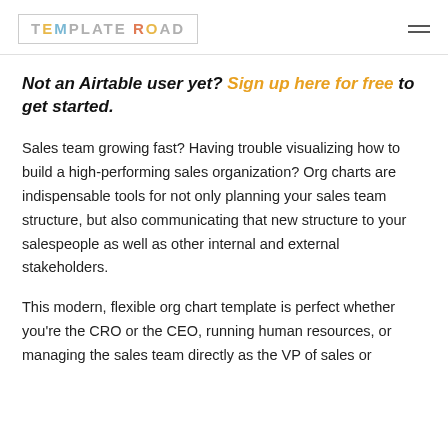TEMPLATE ROAD
Not an Airtable user yet? Sign up here for free to get started.
Sales team growing fast? Having trouble visualizing how to build a high-performing sales organization? Org charts are indispensable tools for not only planning your sales team structure, but also communicating that new structure to your salespeople as well as other internal and external stakeholders.
This modern, flexible org chart template is perfect whether you're the CRO or the CEO, running human resources, or managing the sales team directly as the VP of sales or